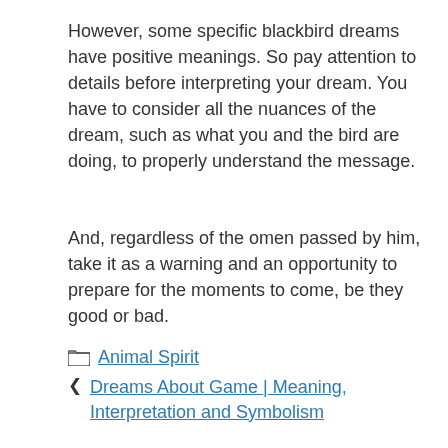However, some specific blackbird dreams have positive meanings. So pay attention to details before interpreting your dream. You have to consider all the nuances of the dream, such as what you and the bird are doing, to properly understand the message.
And, regardless of the omen passed by him, take it as a warning and an opportunity to prepare for the moments to come, be they good or bad.
Animal Spirit
Dreams About Game | Meaning, Interpretation and Symbolism